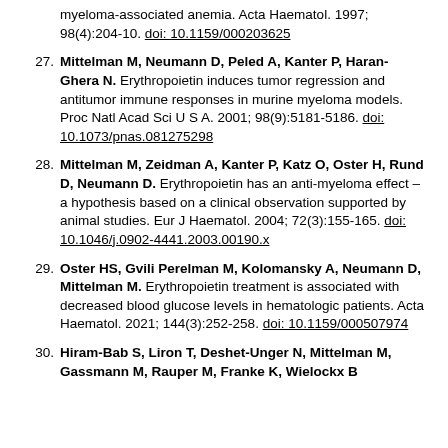myeloma-associated anemia. Acta Haematol. 1997; 98(4):204-10. doi: 10.1159/000203625
27. Mittelman M, Neumann D, Peled A, Kanter P, Haran-Ghera N. Erythropoietin induces tumor regression and antitumor immune responses in murine myeloma models. Proc Natl Acad Sci U S A. 2001; 98(9):5181-5186. doi: 10.1073/pnas.081275298
28. Mittelman M, Zeidman A, Kanter P, Katz O, Oster H, Rund D, Neumann D. Erythropoietin has an anti-myeloma effect – a hypothesis based on a clinical observation supported by animal studies. Eur J Haematol. 2004; 72(3):155-165. doi: 10.1046/j.0902-4441.2003.00190.x
29. Oster HS, Gvili Perelman M, Kolomansky A, Neumann D, Mittelman M. Erythropoietin treatment is associated with decreased blood glucose levels in hematologic patients. Acta Haematol. 2021; 144(3):252-258. doi: 10.1159/000507974
30. Hiram-Bab S, Liron T, Deshet-Unger N, Mittelman M, Gassmann M, Rauper M, Franke K, Wielockx B